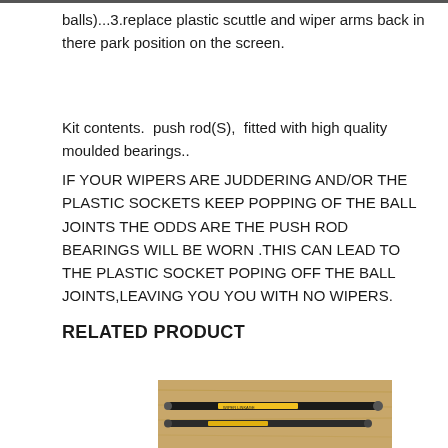balls)...3.replace plastic scuttle and wiper arms back in there park position on the screen.
Kit contents.  push rod(S),  fitted with high quality moulded bearings..
IF YOUR WIPERS ARE JUDDERING AND/OR THE PLASTIC SOCKETS KEEP POPPING OF THE BALL JOINTS THE ODDS ARE THE PUSH ROD BEARINGS WILL BE WORN .THIS CAN LEAD TO THE PLASTIC SOCKET POPING OFF THE BALL JOINTS,LEAVING YOU YOU WITH NO WIPERS.
RELATED PRODUCT
[Figure (photo): Photo of wiper push rods/linkage parts on a wooden surface, showing black and yellow components]